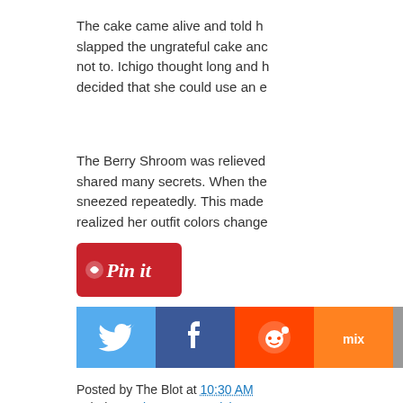The cake came alive and told h... slapped the ungrateful cake anc... not to. Ichigo thought long and h... decided that she could use an e...
The Berry Shroom was relieved... shared many secrets. When the... sneezed repeatedly. This made... realized her outfit colors change...
[Figure (other): Pinterest 'Pin it' button in red/crimson color]
[Figure (other): Social sharing icons: Twitter (blue), Facebook (blue), Reddit (orange), Mix (orange), Email (gray)]
Posted by The Blot at 10:30 AM
Labels: Designer Toys, Erick Sc... Figures, Tomenosuke
Obey Giant: Glas... Print by Shepard...
Thankfully Shepard Fairey has... release a design very reminisce...